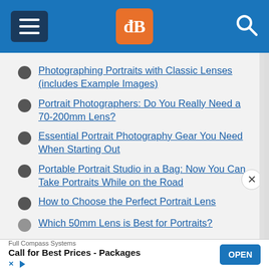dPS (Digital Photography School) navigation header
Photographing Portraits with Classic Lenses (includes Example Images)
Portrait Photographers: Do You Really Need a 70-200mm Lens?
Essential Portrait Photography Gear You Need When Starting Out
Portable Portrait Studio in a Bag: Now You Can Take Portraits While on the Road
How to Choose the Perfect Portrait Lens
Which 50mm Lens is Best for Portraits?
[Figure (screenshot): Advertisement banner for Full Compass Systems with OPEN button]